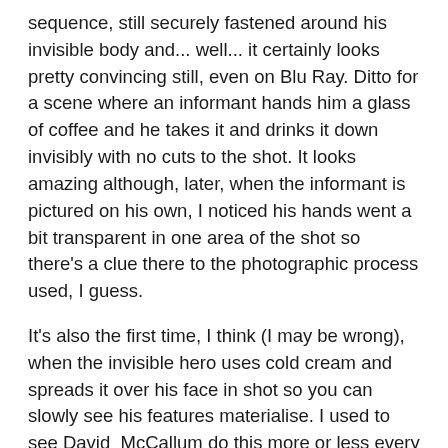sequence, still securely fastened around his invisible body and... well... it certainly looks pretty convincing still, even on Blu Ray. Ditto for a scene where an informant hands him a glass of coffee and he takes it and drinks it down invisibly with no cuts to the shot. It looks amazing although, later, when the informant is pictured on his own, I noticed his hands went a bit transparent in one area of the shot so there's a clue there to the photographic process used, I guess.
It's also the first time, I think (I may be wrong), when the invisible hero uses cold cream and spreads it over his face in shot so you can slowly see his features materialise. I used to see David McCallum do this more or less every week in the 1970s on his The Invisible Man TV show, I'm sure, but for 1942, the sequence is no less well done and must have been pretty effective to audiences seeing this on first release. It's nice stuff.
Another interesting thing that strikes me about the film... and I'm sure that this is true of a lot of the films made at the time about a similar subject... is the mixed nature of the tone. It's